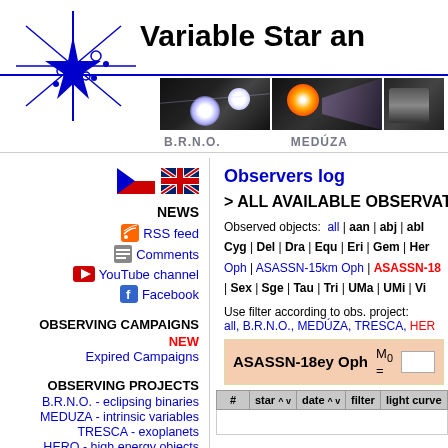Variable Star an
[Figure (logo): Blue star/asterisk logo with figures]
[Figure (photo): Two space/astronomy images: binary star system and orange star jet]
B.R.N.O.   MEDÚZA
[Figure (illustration): Czech flag]
[Figure (illustration): UK flag]
NEWS
RSS feed
Comments
YouTube channel
Facebook
OBSERVING CAMPAIGNS
NEW
Expired Campaigns
OBSERVING PROJECTS
B.R.N.O. - eclipsing binaries
MEDUZA - intrinsic variables
TRESCA - exoplanets
HERO - high energy objects
Observers log
> ALL AVAILABLE OBSERVATI
Observed objects: all | aan | abj | abl Cyg | Del | Dra | Equ | Eri | Gem | Her Oph | ASASSN-15km Oph | ASASSN-18 | Sex | Sge | Tau | Tri | UMa | UMi | Vi
Use filter according to obs. project: all, B.R.N.O., MEDÚZA, TRESCA, HER
ASASSN-18ey Oph   M0 =
| # | star ^ v | date ^ v | filter | light curve |
| --- | --- | --- | --- | --- |